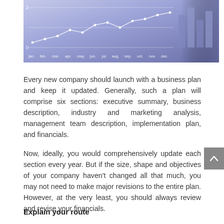[Figure (other): A decorative header image showing a financial line chart with month labels (jan. feb. mar. apr. may. jun. jul. aug. sep. oct. nov. dec.) on a blue-purple toned background with a hand holding documents visible on the right side.]
Every new company should launch with a business plan and keep it updated. Generally, such a plan will comprise six sections: executive summary, business description, industry and marketing analysis, management team description, implementation plan, and financials.
Now, ideally, you would comprehensively update each section every year. But if the size, shape and objectives of your company haven't changed all that much, you may not need to make major revisions to the entire plan. However, at the very least, you should always review and revise your financials.
Explain your route